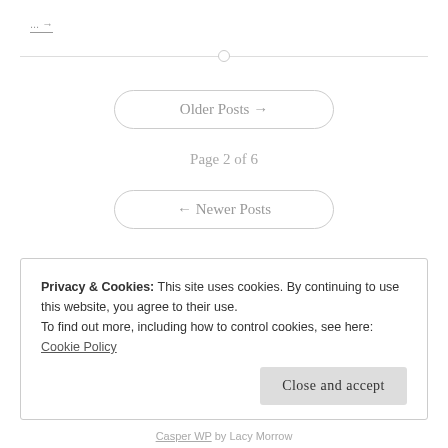... →
Older Posts →
Page 2 of 6
← Newer Posts
Privacy & Cookies: This site uses cookies. By continuing to use this website, you agree to their use.
To find out more, including how to control cookies, see here: Cookie Policy
Close and accept
Casper WP by Lacy Morrow